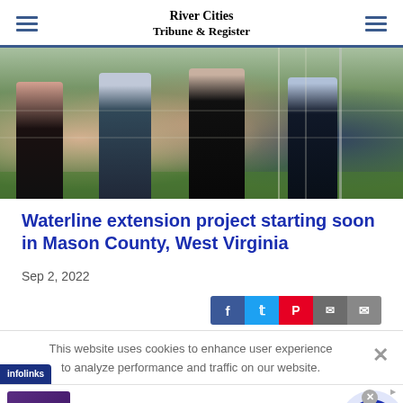River Cities Tribune & Register
[Figure (photo): Group of people standing and crouching outdoors near a chain-link fence on grass]
Waterline extension project starting soon in Mason County, West Virginia
Sep 2, 2022
[Figure (screenshot): Social media share buttons: Facebook, Twitter, Pinterest, SMS, Email]
This website uses cookies to enhance user experience to analyze performance and traffic on our website.
[Figure (screenshot): Infolinks badge (bottom left) and close button (right)]
[Figure (screenshot): Wayfair.com advertisement - Online Home Store Sale! Shop for A Zillion Things Home across all styles at Wayfair! www.wayfair.com]